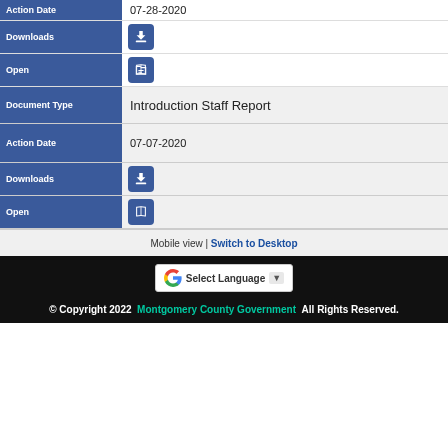| Field | Value |
| --- | --- |
| Action Date | 07-28-2020 |
| Downloads | [download icon] |
| Open | [open icon] |
| Document Type | Introduction Staff Report |
| Action Date | 07-07-2020 |
| Downloads | [download icon] |
| Open | [open icon] |
Mobile view | Switch to Desktop
© Copyright 2022  Montgomery County Government  All Rights Reserved.